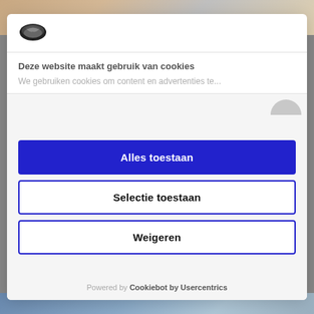[Figure (screenshot): Cookie consent modal dialog on a website. Shows a Cookiebot logo, title 'Deze website maakt gebruik van cookies', partial description text, and three buttons: 'Alles toestaan' (blue filled), 'Selectie toestaan' (white with blue border), 'Weigeren' (white with blue border). Footer: 'Powered by Cookiebot by Usercentrics'.]
Deze website maakt gebruik van cookies
We gebruiken cookies om content en advertenties te...
Alles toestaan
Selectie toestaan
Weigeren
Powered by Cookiebot by Usercentrics